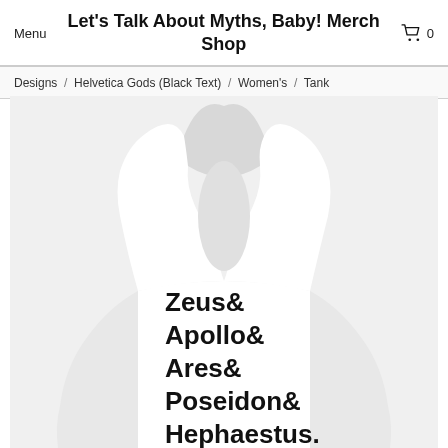Menu   Let's Talk About Myths, Baby! Merch Shop   [cart] 0
Designs / Helvetica Gods (Black Text) / Women's / Tank
[Figure (photo): White women's racerback tank top displayed on a light gray background. The tank top has bold black Helvetica-style text reading: Zeus& Apollo& Ares& Poseidon& Hephaestus.]